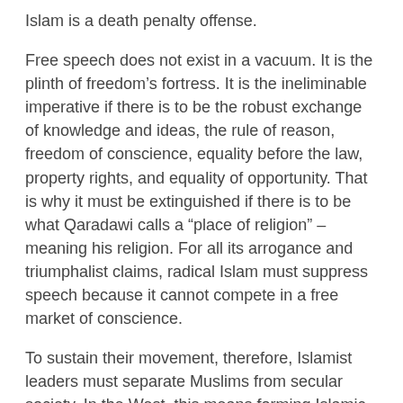Islam is a death penalty offense.
Free speech does not exist in a vacuum. It is the plinth of freedom's fortress. It is the ineliminable imperative if there is to be the robust exchange of knowledge and ideas, the rule of reason, freedom of conscience, equality before the law, property rights, and equality of opportunity. That is why it must be extinguished if there is to be what Qaradawi calls a “place of religion” – meaning his religion. For all its arrogance and triumphalist claims, radical Islam must suppress speech because it cannot compete in a free market of conscience.
To sustain their movement, therefore, Islamist leaders must separate Muslims from secular society. In the West, this means forming Islamic enclaves in which sharia gradually takes root as the de facto and, eventually, the de jure law – enabling Muslims to resist the challenge of critical thinking under the guise avoiding the near occasion of apostasy. Over time, dominion is established over swaths of not only physical territory but legal privilege. Qaradawi puts the matter succinctly: